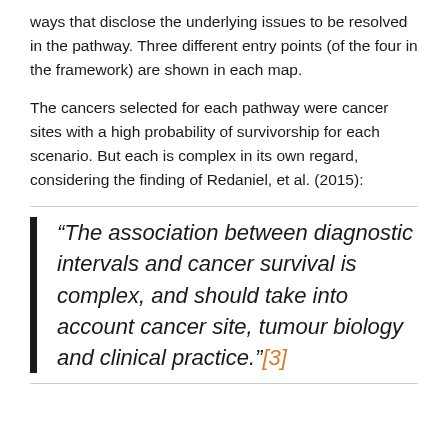ways that disclose the underlying issues to be resolved in the pathway. Three different entry points (of the four in the framework) are shown in each map.
The cancers selected for each pathway were cancer sites with a high probability of survivorship for each scenario. But each is complex in its own regard, considering the finding of Redaniel, et al. (2015):
“The association between diagnostic intervals and cancer survival is complex, and should take into account cancer site, tumour biology and clinical practice.”[3]